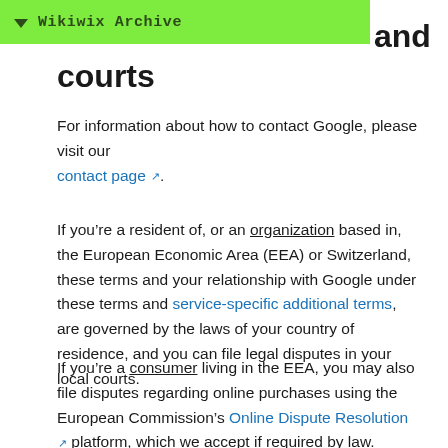Wikiwix Archive
and courts
For information about how to contact Google, please visit our contact page.
If you’re a resident of, or an organization based in, the European Economic Area (EEA) or Switzerland, these terms and your relationship with Google under these terms and service-specific additional terms, are governed by the laws of your country of residence, and you can file legal disputes in your local courts.
If you’re a consumer living in the EEA, you may also file disputes regarding online purchases using the European Commission’s Online Dispute Resolution platform, which we accept if required by law.